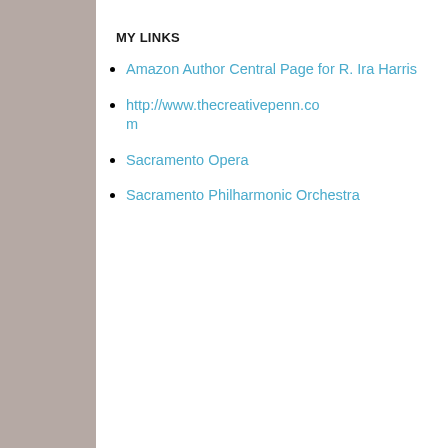MY LINKS
Amazon Author Central Page for R. Ira Harris
http://www.thecreativepenn.com
Sacramento Opera
Sacramento Philharmonic Orchestra
car tracks. It was jus what passed for a ro except for the major military fatigues and In the high humidity wet towel. Up ahead road that cut through the side of the road
In a few min regular troops, arme Vilma waited for the out of the jungle and another three hours.